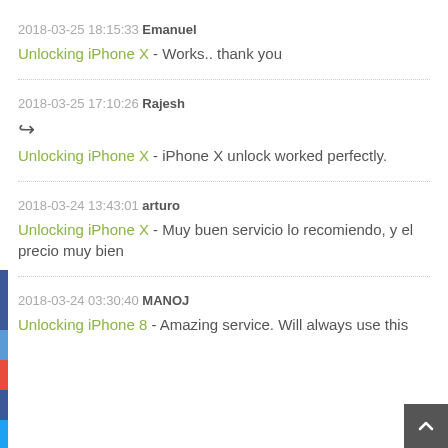2018-03-25 18:15:33 Emanuel
Unlocking iPhone X - Works.. thank you
2018-03-25 17:10:26 Rajesh
Unlocking iPhone X - iPhone X unlock worked perfectly.
2018-03-24 13:43:01 arturo
Unlocking iPhone X - Muy buen servicio lo recomiendo, y el precio muy bien
2018-03-24 03:30:40 MANOJ
Unlocking iPhone 8 - Amazing service. Will always use this